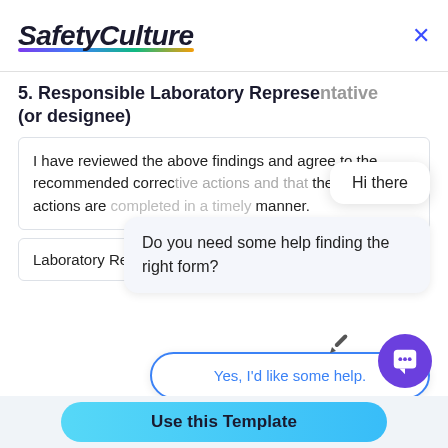[Figure (screenshot): SafetyCulture app header with logo and close button]
5. Responsible Laboratory Representative (or designee)
I have reviewed the above findings and agree to the recommended corrective actions and that the corrective actions are completed in a timely manner.
Laboratory Representative
Hi there
Do you need some help finding the right form?
Yes, I'd like some help.
I want to import my own form.
No, I'm good. Thanks!
Use this Template